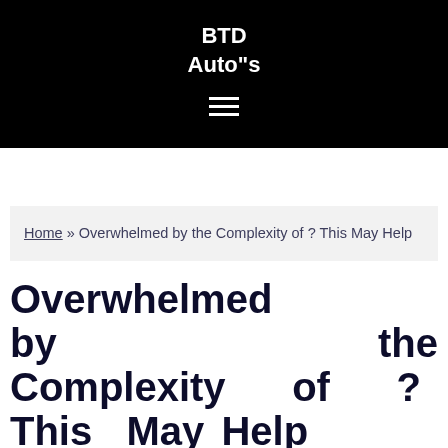BTD
Auto"s
Home » Overwhelmed by the Complexity of ? This May Help
Overwhelmed by the Complexity of ? This May Help